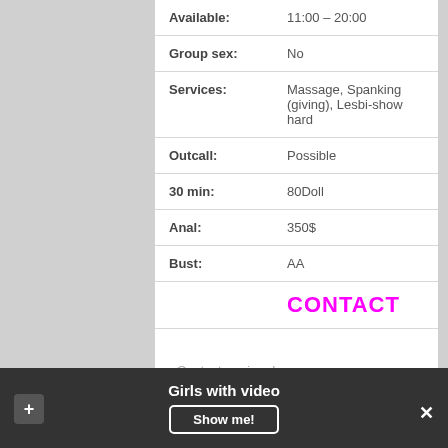| Field | Value |
| --- | --- |
| Available: | 11:00 – 20:00 |
| Group sex: | No |
| Services: | Massage, Spanking (giving), Lesbi-show hard |
| Outcall: | Possible |
| 30 min: | 80Doll |
| Anal: | 350$ |
| Bust: | AA |
|  | CONTACT |
Contact me in advance.
Girls with video  Show me!